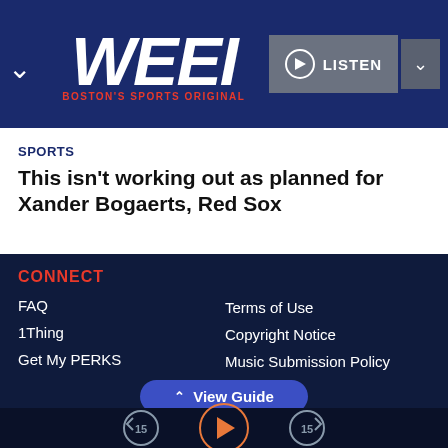[Figure (logo): WEEI radio station logo with text WEEI in large white italic bold letters and tagline BOSTON'S SPORTS ORIGINAL in red below]
SPORTS
This isn't working out as planned for Xander Bogaerts, Red Sox
CONNECT
FAQ
1Thing
Get My PERKS
#ImListening
Contact Us
Terms of Use
Copyright Notice
Music Submission Policy
Do Not Sell My Personal Information
Public Help File
View Guide